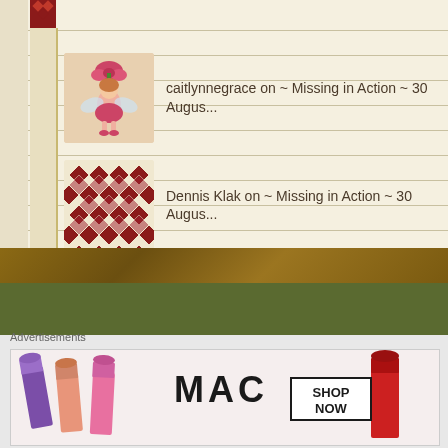caitlynnegrace on ~ Missing in Action ~ 30 Augus...
Dennis Klak on ~ Missing in Action ~ 30 Augus...
Translate
Select Language
Advertisements
[Figure (photo): MAC cosmetics advertisement showing colorful lipsticks with MAC logo and SHOP NOW box]